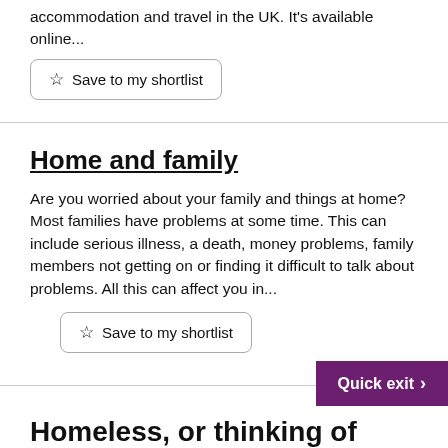accommodation and travel in the UK. It's available online...
Save to my shortlist
Home and family
Are you worried about your family and things at home? Most families have problems at some time. This can include serious illness, a death, money problems, family members not getting on or finding it difficult to talk about problems. All this can affect you in...
Save to my shortlist
Homeless, or thinking of